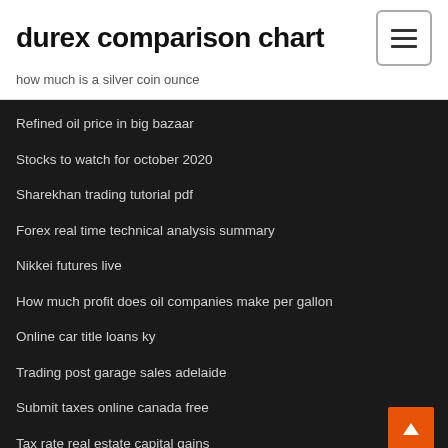durex comparison chart
how much is a silver coin ounce
Refined oil price in big bazaar
Stocks to watch for october 2020
Sharekhan trading tutorial pdf
Forex real time technical analysis summary
Nikkei futures live
How much profit does oil companies make per gallon
Online car title loans ky
Trading post garage sales adelaide
Submit taxes online canada free
Tax rate real estate capital gains